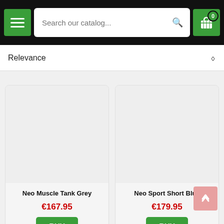Navigation bar with hamburger menu, search field 'Search our catalog...', and cart button with badge 0
Relevance
[Figure (screenshot): Product card: Neo Muscle Tank Grey, price €167.95, BUY button]
[Figure (screenshot): Product card: Neo Sport Short Blue, price €179.95, BUY button]